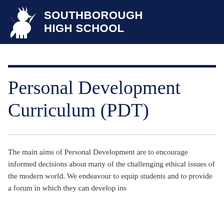SOUTHBOROUGH HIGH SCHOOL
Personal Development Curriculum (PDT)
The main aims of Personal Development are to encourage informed decisions about many of the challenging ethical issues of the modern world. We endeavour to equip students with skills and to provide a forum in which they can develop ins